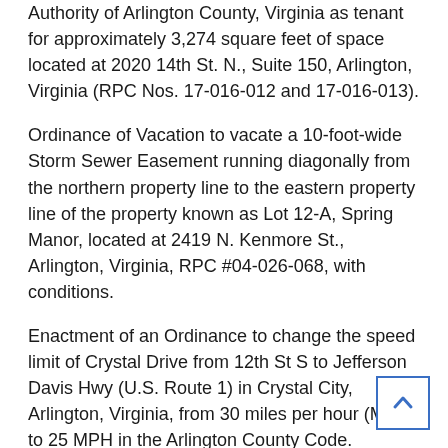Authority of Arlington County, Virginia as tenant for approximately 3,274 square feet of space located at 2020 14th St. N., Suite 150, Arlington, Virginia (RPC Nos. 17-016-012 and 17-016-013).
Ordinance of Vacation to vacate a 10-foot-wide Storm Sewer Easement running diagonally from the northern property line to the eastern property line of the property known as Lot 12-A, Spring Manor, located at 2419 N. Kenmore St., Arlington, Virginia, RPC #04-026-068, with conditions.
Enactment of an Ordinance to change the speed limit of Crystal Drive from 12th St S to Jefferson Davis Hwy (U.S. Route 1) in Crystal City, Arlington, Virginia, from 30 miles per hour (MPH) to 25 MPH in the Arlington County Code.
Enactment of an Ordinance to correct certain fees on a permit and plan review fee schedule adopted by the County Board of Arlington County, Virginia on April 21, 2018,